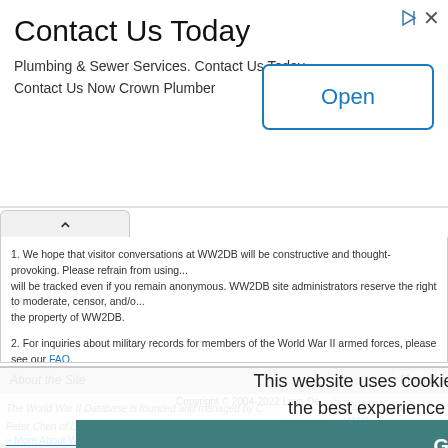[Figure (other): Advertisement banner for plumbing service with 'Contact Us Today' title, 'Plumbing & Sewer Services. Contact Us Today. Contact Us Now Crown Plumber' text, and an 'Open' button]
1. We hope that visitor conversations at WW2DB will be constructive and thought-provoking. Please refrain from using... will be tracked even if you remain anonymous. WW2DB site administrators reserve the right to moderate, censor, and/o... the property of WW2DB.
2. For inquiries about military records for members of the World War II armed forces, please see our FAQ.
About the Site
Most R
The World War II Database is founded and managed by C. Peter Chen of Lava Development, LLC. The g... information about WW2. Second, it is to showcase Lava's technical capabilities.
This website uses cookies to ensure you get the best experience on our website.
Learn more
» More About WW2DB
» More About Lava
» Syndication
» Terms of Use & Disclosures
» World War II Database Home
» Mobile View
» Today...
» WW2...
» Battle...
» Battle...
» Norm...
» Tiger ...
» The H...
» Hiros...
» Corsa...
Got it!
Copyright © 2004-2022 Lava De...